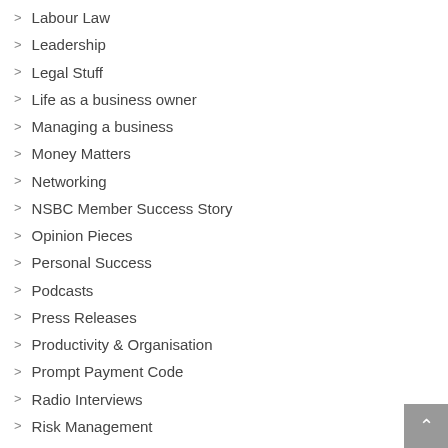Labour Law
Leadership
Legal Stuff
Life as a business owner
Managing a business
Money Matters
Networking
NSBC Member Success Story
Opinion Pieces
Personal Success
Podcasts
Press Releases
Productivity & Organisation
Prompt Payment Code
Radio Interviews
Risk Management
Sales & Marketing
Small Business Friday
SME Events
SME News
Social Media
Starting a Business